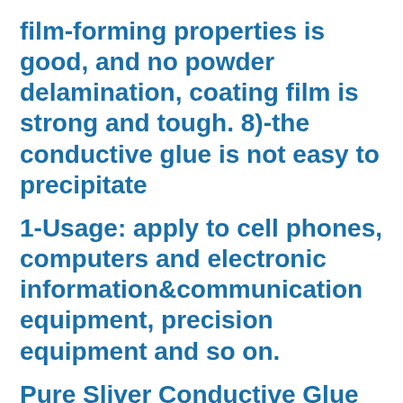film-forming properties is good, and no powder delamination, coating film is strong and tough. 8)-the conductive glue is not easy to precipitate
1-Usage: apply to cell phones, computers and electronic information&communication equipment, precision equipment and so on.
Pure Sliver Conductive Glue for Smart Glass Film Busbar
of colored EVA Film in one design, even you order from same EVA Fil...